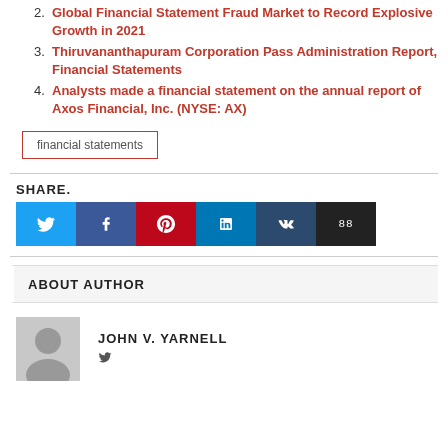Global Financial Statement Fraud Market to Record Explosive Growth in 2021
Thiruvananthapuram Corporation Pass Administration Report, Financial Statements
Analysts made a financial statement on the annual report of Axos Financial, Inc. (NYSE: AX)
financial statements
SHARE.
ABOUT AUTHOR
JOHN V. YARNELL